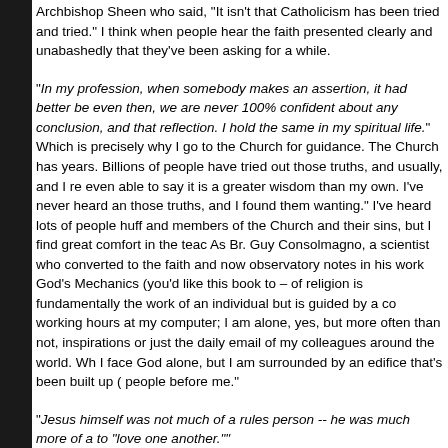Archbishop Sheen who said, "It isn't that Catholicism has been tried and tried." I think when people hear the faith presented clearly and unabashedly that they've been asking for a while.
"In my profession, when somebody makes an assertion, it had better be even then, we are never 100% confident about any conclusion, and that reflection. I hold the same in my spiritual life." Which is precisely why I go to the Church for guidance. The Church has years. Billions of people have tried out those truths, and usually, and I re even able to say it is a greater wisdom than my own. I've never heard an those truths, and I found them wanting." I've heard lots of people huff and members of the Church and their sins, but I find great comfort in the teac As Br. Guy Consolmagno, a scientist who converted to the faith and now observatory notes in his work God's Mechanics (you'd like this book to – of religion is fundamentally the work of an individual but is guided by a co working hours at my computer; I am alone, yes, but more often than not, inspirations or just the daily email of my colleagues around the world. Wh I face God alone, but I am surrounded by an edifice that's been built up ( people before me."
"Jesus himself was not much of a rules person -- he was much more of a to "love one another."" I get this one a lot. Jesus is purported to have been really just a guy abor as obstacles to authentic conversion. Chesterton once noted that, despit